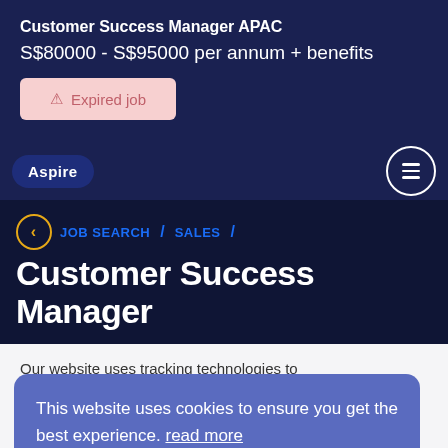Customer Success Manager APAC
S$80000 - S$95000 per annum + benefits
⚠ Expired job
Aspire
JOB SEARCH / SALES /
Customer Success Manager
Our website uses tracking technologies to learn how our visitors interact with our site so
This website uses cookies to ensure you get the best experience. read more
Got it!